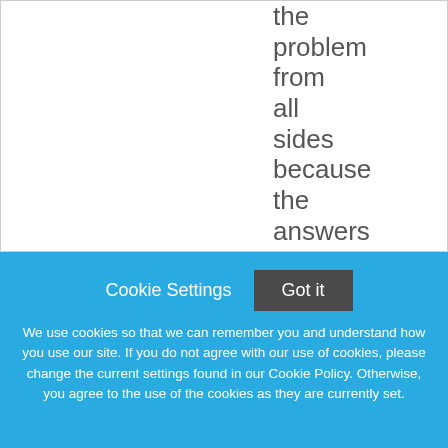the problem from all sides because the answers we're after won't
Cookie Settings   Got it
We use cookies so that we can remember you and understand how you use our site. If you do not agree with our use of cookies, please change the current settings found in our Cookie Policy. Otherwise, you agree to the use of the cookies as they are currently set.